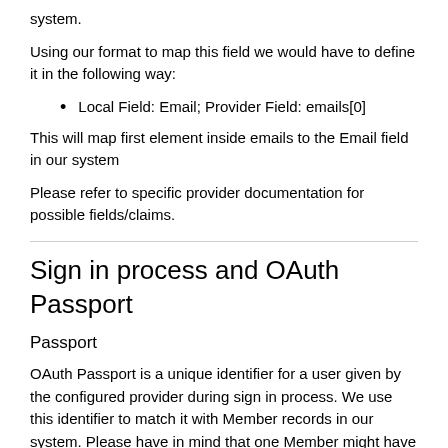system.
Using our format to map this field we would have to define it in the following way:
Local Field: Email; Provider Field: emails[0]
This will map first element inside emails to the Email field in our system
Please refer to specific provider documentation for possible fields/claims.
Sign in process and OAuth Passport
Passport
OAuth Passport is a unique identifier for a user given by the configured provider during sign in process. We use this identifier to match it with Member records in our system. Please have in mind that one Member might have more than one Passport.